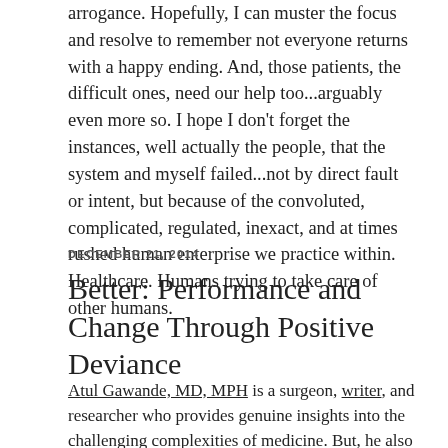arrogance. Hopefully, I can muster the focus and resolve to remember not everyone returns with a happy ending. And, those patients, the difficult ones, need our help too...arguably even more so. I hope I don't forget the instances, well actually the people, that the system and myself failed...not by direct fault or intent, but because of the convoluted, complicated, regulated, inexact, and at times rushed human enterprise we practice within. Healthcare. Humans trying to take care of other humans.
DECEMBER 21, 2014
Better: Performance and Change Through Positive Deviance
Atul Gawande, MD, MPH is a surgeon, writer, and researcher who provides genuine insights into the challenging complexities of medicine. But, he also